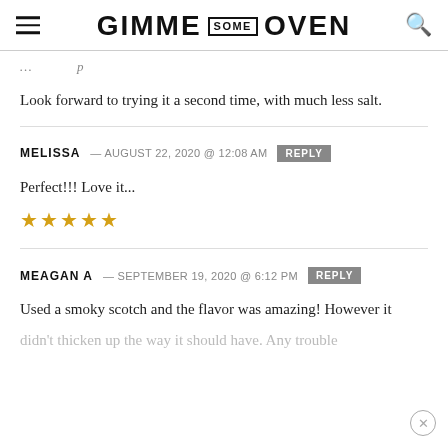GIMME SOME OVEN
Look forward to trying it a second time, with much less salt.
MELISSA — AUGUST 22, 2020 @ 12:08 AM  REPLY
Perfect!!! Love it...
★★★★★
MEAGAN A — SEPTEMBER 19, 2020 @ 6:12 PM  REPLY
Used a smoky scotch and the flavor was amazing! However it didn't thicken up the way it should have. Any trouble shooting?